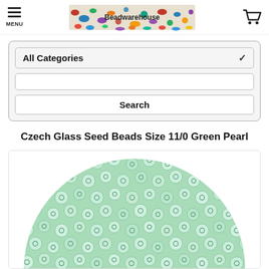MENU | Beadwarehouse | [cart icon]
All Categories
Search
Czech Glass Seed Beads Size 11/0 Green Pearl
[Figure (photo): Close-up circular image of small Czech glass seed beads in green pearl color, showing many tiny round beads with holes clustered together.]